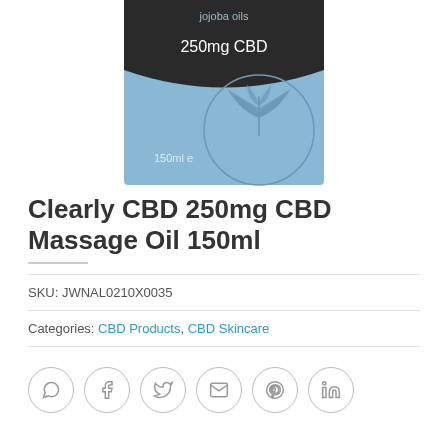[Figure (photo): Product image of Clearly CBD 250mg CBD Massage Oil 150ml bottle with blue label showing jojoba oils text, 250mg CBD, 150ml, and a hemp leaf illustration]
Clearly CBD 250mg CBD Massage Oil 150ml
SKU: JWNAL0210X0035
Categories: CBD Products, CBD Skincare
[Figure (infographic): Row of social share icons: WhatsApp, Facebook, Twitter, Email, Pinterest, LinkedIn]